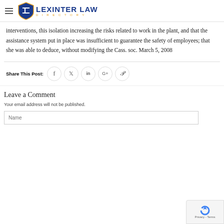LEXINTER LAW DIRECTORY
interventions, this isolation increasing the risks related to work in the plant, and that the assistance system put in place was insufficient to guarantee the safety of employees; that she was able to deduce, without modifying the Cass. soc. March 5, 2008
Share This Post: [social icons: facebook, twitter, linkedin, google+, pinterest]
Leave a Comment
Your email address will not be published.
Name